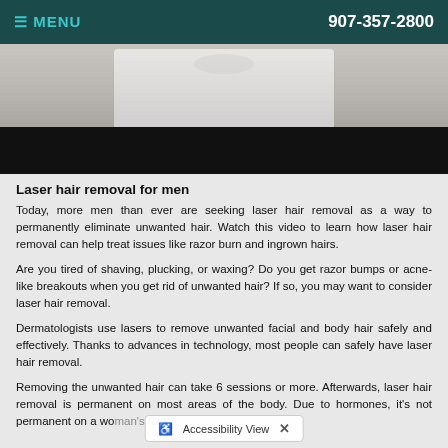MENU  907-357-2800
[Figure (photo): Photo of a person in a white t-shirt, with a black overlay bar beneath]
Laser hair removal for men
Today, more men than ever are seeking laser hair removal as a way to permanently eliminate unwanted hair. Watch this video to learn how laser hair removal can help treat issues like razor burn and ingrown hairs.
Are you tired of shaving, plucking, or waxing? Do you get razor bumps or acne-like breakouts when you get rid of unwanted hair? If so, you may want to consider laser hair removal.
Dermatologists use lasers to remove unwanted facial and body hair safely and effectively. Thanks to advances in technology, most people can safely have laser hair removal.
Removing the unwanted hair can take 6 sessions or more. Afterwards, laser hair removal is permanent on most areas of the body. Due to hormones, it's not permanent on a woman's face.